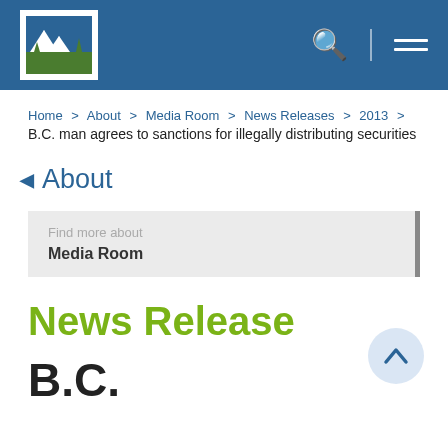[Figure (logo): BC Government logo with stylized mountain and tree silhouette in blue and green on white background, inside white-bordered box on blue header bar]
BC Government website header with logo, search icon, and navigation menu icon on blue background
Home > About > Media Room > News Releases > 2013 > B.C. man agrees to sanctions for illegally distributing securities
About
Find more about
Media Room
News Release
B.C.